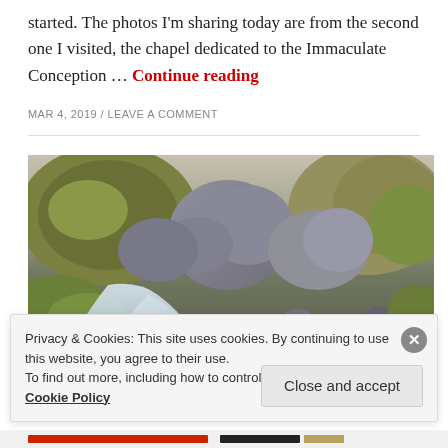started. The photos I'm sharing today are from the second one I visited, the chapel dedicated to the Immaculate Conception … Continue reading
MAR 4, 2019 / LEAVE A COMMENT
[Figure (photo): A rocky mountain stream flowing between moss-covered boulders and large rocks, with green vegetation and a highland landscape.]
Privacy & Cookies: This site uses cookies. By continuing to use this website, you agree to their use.
To find out more, including how to control cookies, see here: Cookie Policy
Close and accept